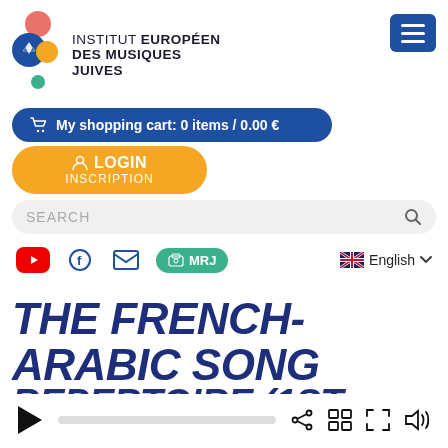[Figure (logo): Institut Européen des Musiques Juives logo with colorful music note icon and text]
My shopping cart: 0 items / 0.00 €
LOGIN INSCRIPTION
SEARCH
[Figure (infographic): Social media bar with YouTube, Facebook, email, MRJ radio button, and English language selector]
THE FRENCH-ARABIC SONG REPERTOIRE (1ST PART)
[Figure (other): Audio player bar with play button, progress bar, share icon, grid icon, fullscreen icon, and volume icon]